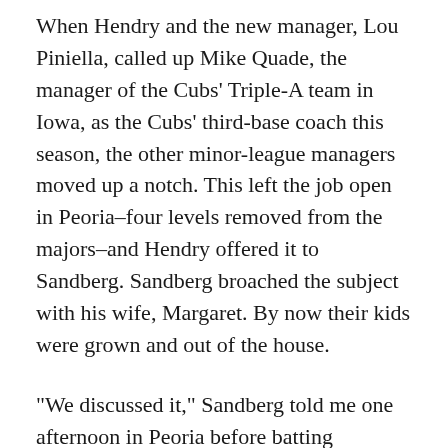When Hendry and the new manager, Lou Piniella, called up Mike Quade, the manager of the Cubs' Triple-A team in Iowa, as the Cubs' third-base coach this season, the other minor-league managers moved up a notch. This left the job open in Peoria–four levels removed from the majors–and Hendry offered it to Sandberg. Sandberg broached the subject with his wife, Margaret. By now their kids were grown and out of the house.
“We discussed it,” Sandberg told me one afternoon in Peoria before batting practice. “She knew I was a little bit itchy on what I wanted to do in the future. The timing just seemed to be right for me. It just seemed to be the next step. If I wanted to get into baseball full-time, something like this was necessary to have on the